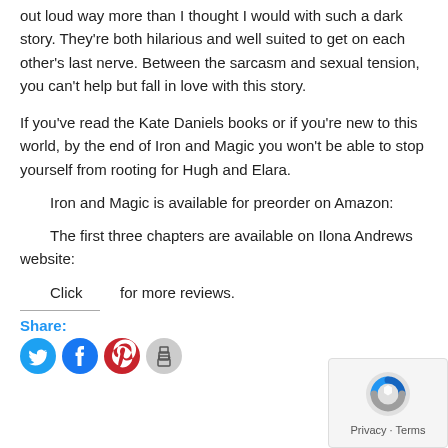out loud way more than I thought I would with such a dark story. They're both hilarious and well suited to get on each other's last nerve. Between the sarcasm and sexual tension, you can't help but fall in love with this story.
If you've read the Kate Daniels books or if you're new to this world, by the end of Iron and Magic you won't be able to stop yourself from rooting for Hugh and Elara.
Iron and Magic is available for preorder on Amazon:
The first three chapters are available on Ilona Andrews website:
Click for more reviews.
Share:
[Figure (infographic): Social media sharing icons: Twitter (blue circle), Facebook (blue circle), Pinterest (red circle), Print (grey circle)]
[Figure (logo): Privacy - Terms reCAPTCHA badge in bottom right corner]